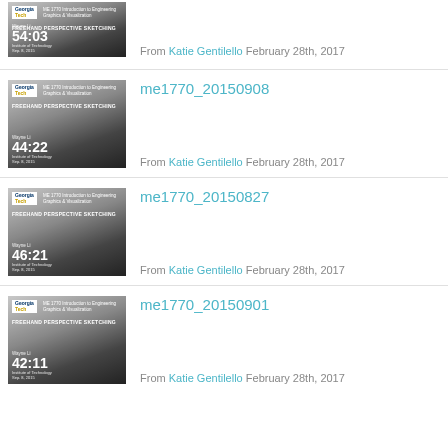[Figure (screenshot): Video thumbnail for Georgia Tech ME 1770 Freehand Perspective Sketching, duration 54:03]
From Katie Gentilello February 28th, 2017
[Figure (screenshot): Video thumbnail for Georgia Tech ME 1770 Freehand Perspective Sketching, duration 44:22]
me1770_20150908
From Katie Gentilello February 28th, 2017
[Figure (screenshot): Video thumbnail for Georgia Tech ME 1770 Freehand Perspective Sketching, duration 46:21]
me1770_20150827
From Katie Gentilello February 28th, 2017
[Figure (screenshot): Video thumbnail for Georgia Tech ME 1770 Freehand Perspective Sketching, duration 42:11]
me1770_20150901
From Katie Gentilello February 28th, 2017